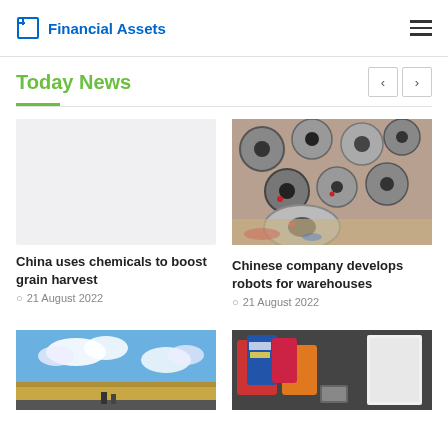Financial Assets
Today News
[Figure (photo): Blank/light gray placeholder image for first news article]
China uses chemicals to boost grain harvest
21 August 2022
[Figure (photo): Photo of multiple round robotic units stacked together, silver/metallic color with red sensors]
Chinese company develops robots for warehouses
21 August 2022
[Figure (photo): Partially visible photo showing blue sky with clouds and a field/landscape]
[Figure (photo): Partially visible photo showing colorful items and boxes]